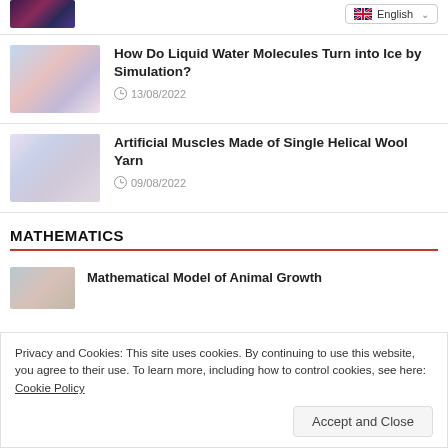[Figure (photo): Dark purple/magenta abstract image thumbnail at top left]
English (language selector dropdown)
How Do Liquid Water Molecules Turn into Ice by Simulation?
13/08/2022
Artificial Muscles Made of Single Helical Wool Yarn
09/08/2022
MATHEMATICS
Privacy and Cookies: This site uses cookies. By continuing to use this website, you agree to their use. To learn more, including how to control cookies, see here: Cookie Policy
Accept and Close
Mathematical Model of Animal Growth